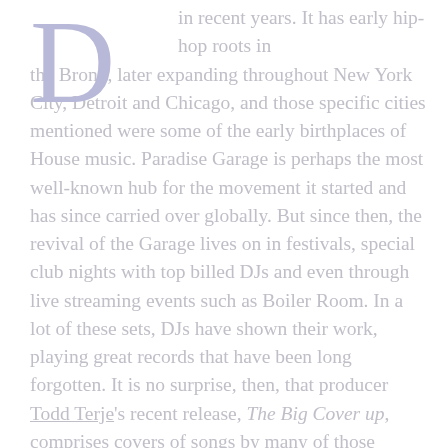D in recent years. It has early hip-hop roots in the Bronx, later expanding throughout New York City, Detroit and Chicago, and those specific cities mentioned were some of the early birthplaces of House music. Paradise Garage is perhaps the most well-known hub for the movement it started and has since carried over globally. But since then, the revival of the Garage lives on in festivals, special club nights with top billed DJs and even through live streaming events such as Boiler Room. In a lot of these sets, DJs have shown their work, playing great records that have been long forgotten. It is no surprise, then, that producer Todd Terje's recent release, The Big Cover up, comprises covers of songs by many of those forgotten artists.
To be clear, Todd Terje is a nerd. That's not meant to be